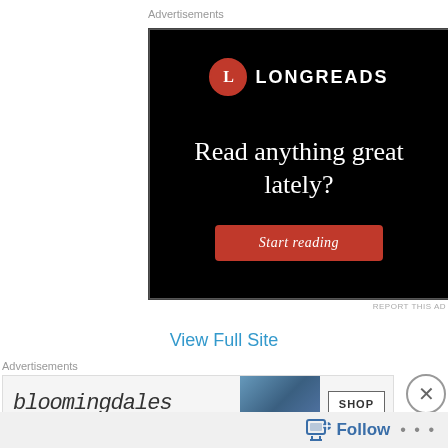Advertisements
[Figure (illustration): Longreads advertisement banner on black background with logo, headline 'Read anything great lately?' and red 'Start reading' button]
REPORT THIS AD
View Full Site
Advertisements
[Figure (illustration): Bloomingdale's advertisement banner with logo, fashion image, and SHOP button]
Follow
...